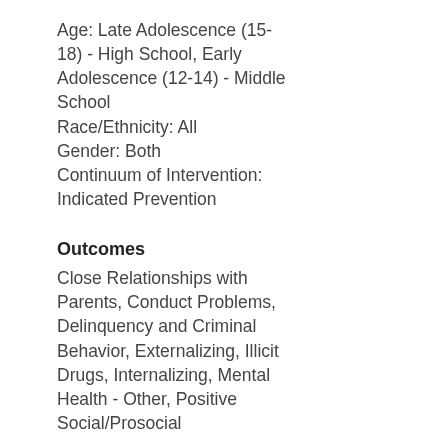Age: Late Adolescence (15-18) - High School, Early Adolescence (12-14) - Middle School Race/Ethnicity: All Gender: Both Continuum of Intervention: Indicated Prevention
Outcomes
Close Relationships with Parents, Conduct Problems, Delinquency and Criminal Behavior, Externalizing, Illicit Drugs, Internalizing, Mental Health - Other, Positive Social/Prosocial